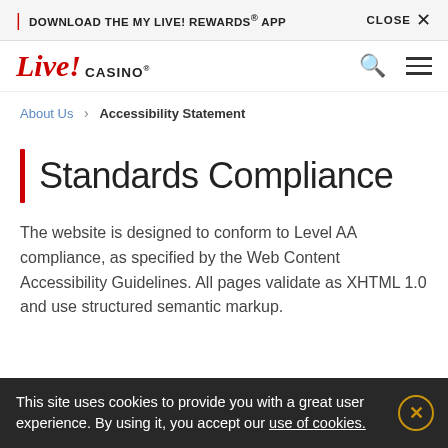DOWNLOAD THE MY LIVE! REWARDS® APP   CLOSE ×
[Figure (logo): Live! Casino logo with red stylized text and registered trademark symbol]
About Us > Accessibility Statement
Standards Compliance
The website is designed to conform to Level AA compliance, as specified by the Web Content Accessibility Guidelines. All pages validate as XHTML 1.0 and use structured semantic markup.
This site uses cookies to provide you with a great user experience. By using it, you accept our use of cookies.